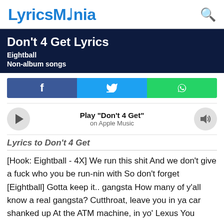LyricsMania
Don't 4 Get Lyrics
Eightball
Non-album songs
[Figure (infographic): Social share buttons: Facebook (blue), Twitter (cyan), WhatsApp (green)]
[Figure (infographic): Apple Music player bar with play button, 'Play "Don't 4 Get"' text and 'on Apple Music' subtitle, and volume button]
Lyrics to Don't 4 Get
[Hook: Eightball - 4X] We run this shit And we don't give a fuck who you be run-nin with So don't forget [Eightball] Gotta keep it.. gangsta How many of y'all know a real gangsta? Cutthroat, leave you in ya car shanked up At the ATM machine, in yo' Lexus You